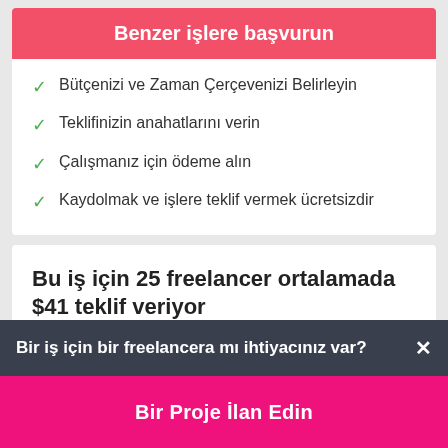Benzer işlere başvurun
Bütçenizi ve Zaman Çerçevenizi Belirleyin
Teklifinizin anahatlarını verin
Çalışmanız için ödeme alın
Kaydolmak ve işlere teklif vermek ücretsizdir
Bu iş için 25 freelancer ortalamada $41 teklif veriyor
Bir iş için bir freelancera mı ihtiyacınız var?
Bir Proje İlan Edin